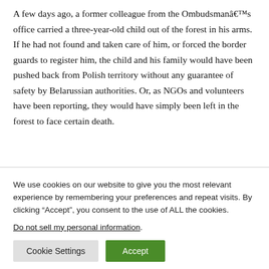A few days ago, a former colleague from the Ombudsmanâs office carried a three-year-old child out of the forest in his arms. If he had not found and taken care of him, or forced the border guards to register him, the child and his family would have been pushed back from Polish territory without any guarantee of safety by Belarussian authorities. Or, as NGOs and volunteers have been reporting, they would have simply been left in the forest to face certain death.
We use cookies on our website to give you the most relevant experience by remembering your preferences and repeat visits. By clicking “Accept”, you consent to the use of ALL the cookies.
Do not sell my personal information.